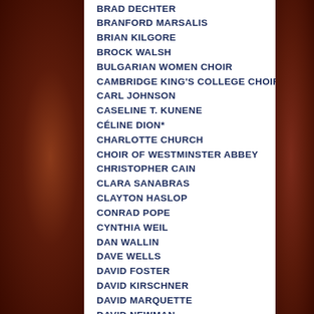BRAD DECHTER
BRANFORD MARSALIS
BRIAN KILGORE
BROCK WALSH
BULGARIAN WOMEN CHOIR
CAMBRIDGE KING'S COLLEGE CHOIR
CARL JOHNSON
CASELINE T. KUNENE
CÉLINE DION*
CHARLOTTE CHURCH
CHOIR OF WESTMINSTER ABBEY
CHRISTOPHER CAIN
CLARA SANABRAS
CLAYTON HASLOP
CONRAD POPE
CYNTHIA WEIL
DAN WALLIN
DAVE WELLS
DAVID FOSTER
DAVID KIRSCHNER
DAVID MARQUETTE
DAVID NEWMAN
DAVID RICHARD CAMPBELL
DAVID SLONAKER
DEAN PARKS